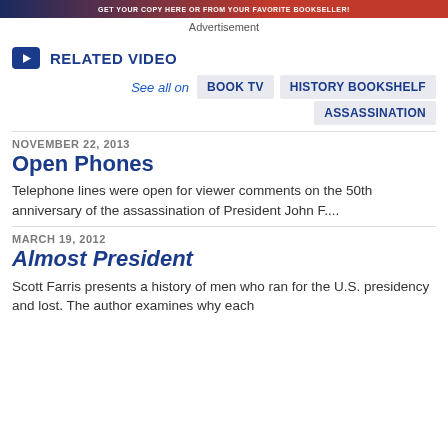[Figure (other): Advertisement banner image with red background and text: GET YOUR COPY HERE OR FROM YOUR FAVORITE BOOKSELLER!]
Advertisement
RELATED VIDEO
See all on  BOOK TV  HISTORY BOOKSHELF  ASSASSINATION
NOVEMBER 22, 2013
Open Phones
Telephone lines were open for viewer comments on the 50th anniversary of the assassination of President John F....
MARCH 19, 2012
Almost President
Scott Farris presents a history of men who ran for the U.S. presidency and lost. The author examines why each